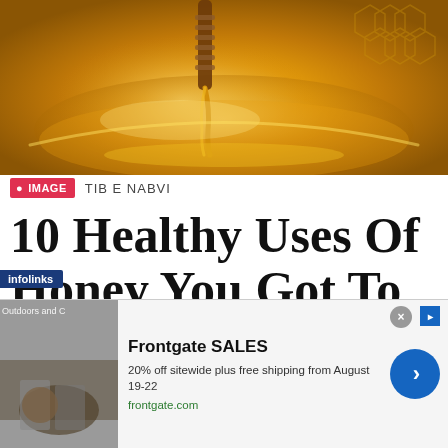[Figure (photo): Close-up photo of honey dripping from a wooden honey dipper into a glass bowl filled with golden honey, with honeycomb visible in background]
IMAGE  TIB E NABVI
10 Healthy Uses Of Honey You Got To
[Figure (other): Advertisement banner: Frontgate SALES - 20% off sitewide plus free shipping from August 19-22, frontgate.com]